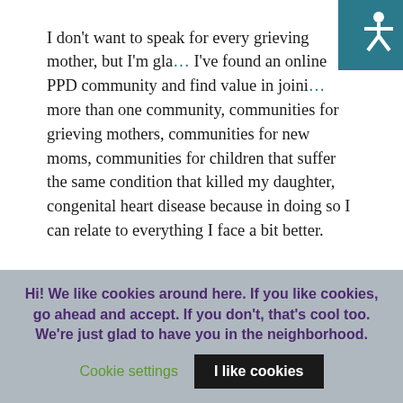I don't want to speak for every grieving mother, but I'm glad I've found an online PPD community and find value in joining more than one community, communities for grieving mothers, communities for new moms, communities for children that suffer the same condition that killed my daughter, congenital heart disease because in doing so I can relate to everything I face a bit better.
I hope more grieving mothers realize they too have a multi-headed dragon to slay and begin reaching out. Depression after giving birth, whether you have a baby on Earth or somewhere else, only gets better with help.
Hi! We like cookies around here. If you like cookies, go ahead and accept. If you don't, that's cool too. We're just glad to have you in the neighborhood. Cookie settings I like cookies